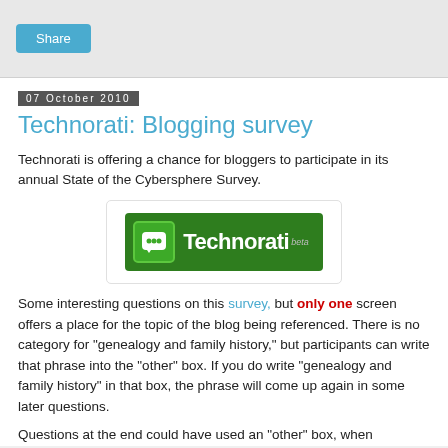Share
07 October 2010
Technorati: Blogging survey
Technorati is offering a chance for bloggers to participate in its annual State of the Cybersphere Survey.
[Figure (logo): Technorati beta green logo with speech bubble icon]
Some interesting questions on this survey, but only one screen offers a place for the topic of the blog being referenced. There is no category for "genealogy and family history," but participants can write that phrase into the "other" box. If you do write "genealogy and family history" in that box, the phrase will come up again in some later questions.
Questions at the end could have used an "other" box, when